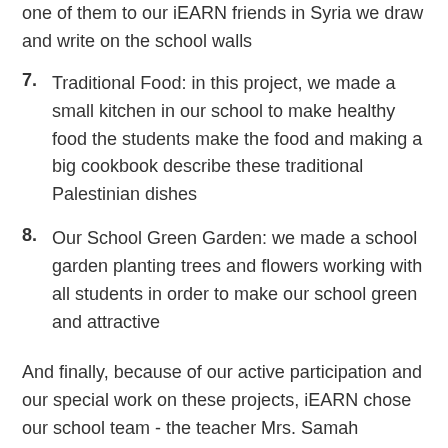one of them to our iEARN friends in Syria we draw and write on the school walls
7. Traditional Food: in this project, we made a small kitchen in our school to make healthy food the students make the food and making a big cookbook describe these traditional Palestinian dishes
8. Our School Green Garden: we made a school garden planting trees and flowers working with all students in order to make our school green and attractive
And finally, because of our active participation and our special work on these projects, iEARN chose our school team - the teacher Mrs. Samah Haddad, the school principle